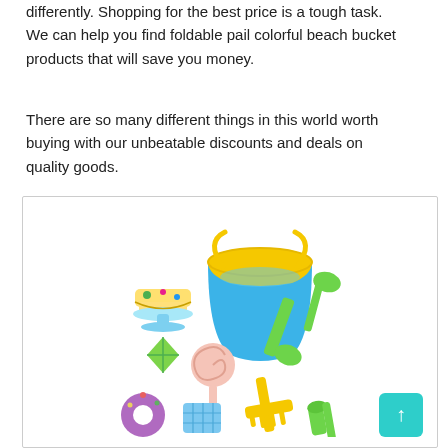differently. Shopping for the best price is a tough task. We can help you find foldable pail colorful beach bucket products that will save you money.
There are so many different things in this world worth buying with our unbeatable discounts and deals on quality goods.
[Figure (photo): A set of colorful foldable beach bucket toys including a blue and yellow collapsible bucket with shovel, green spoon, yellow rake, pink lollipop mold, green diamond shape, purple donut, blue grid mold, green roller, and a small toy cake on a stand, all arranged together on a white background.]